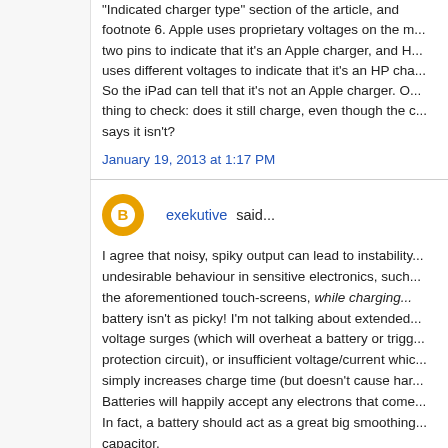"Indicated charger type" section of the article, and footnote 6. Apple uses proprietary voltages on the m... two pins to indicate that it's an Apple charger, and H... uses different voltages to indicate that it's an HP cha... So the iPad can tell that it's not an Apple charger. O... thing to check: does it still charge, even though the c... says it isn't?
January 19, 2013 at 1:17 PM
exekutive said...
I agree that noisy, spiky output can lead to instability... undesirable behaviour in sensitive electronics, such... the aforementioned touch-screens, while charging... battery isn't as picky! I'm not talking about extended... voltage surges (which will overheat a battery or trigg... protection circuit), or insufficient voltage/current whic... simply increases charge time (but doesn't cause har... Batteries will happily accept any electrons that come... In fact, a battery should act as a great big smoothing... capacitor.